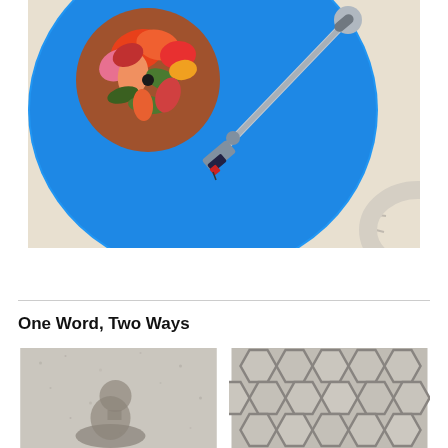[Figure (photo): Overhead view of a blue vinyl record on a turntable with a floral-patterned record label and a silver tonearm with red cartridge]
One Word, Two Ways
[Figure (photo): Shadow of a person cast on a light gray concrete sidewalk surface]
[Figure (photo): Close-up of hexagonal gray paving stones with dark grout lines]